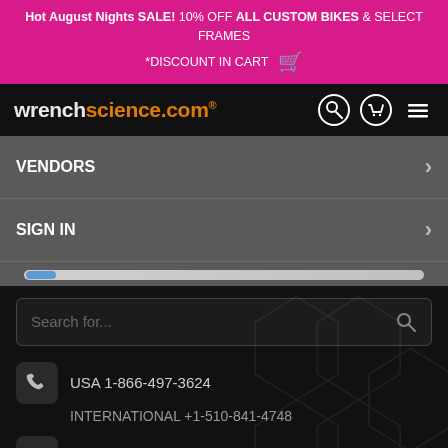Hot August Nights SALE! 10% OFF ALL CUSTOM BIKES & SELECT FRAMES *DISCOUNT IN CART
[Figure (logo): wrenchscience.com logo in white and orange on black background, with search, cart and menu icons]
VENDORS
SIGN IN
Search for...
USA 1-866-497-3624
INTERNATIONAL +1-510-841-4748
sales@wrenchscience.com
Map & Directions